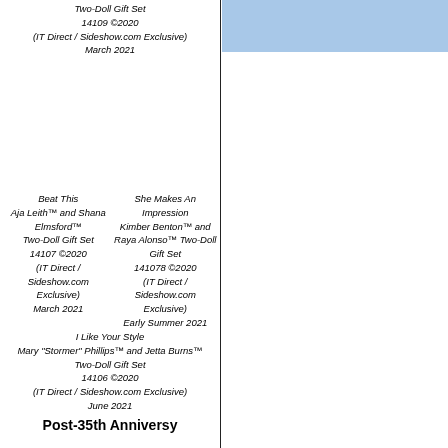Two-Doll Gift Set
14109 ©2020
(IT Direct / Sideshow.com Exclusive)
March 2021
Beat This
Aja Leith™ and Shana Elmsford™ Two-Doll Gift Set
14107 ©2020
(IT Direct / Sideshow.com Exclusive)
March 2021
She Makes An Impression
Kimber Benton™ and Raya Alonso™ Two-Doll Gift Set
141078 ©2020
(IT Direct / Sideshow.com Exclusive)
Early Summer 2021
I Like Your Style
Mary "Stormer" Phillips™ and Jetta Burns™ Two-Doll Gift Set
14106 ©2020
(IT Direct / Sideshow.com Exclusive)
June 2021
Post-35th Anniversy